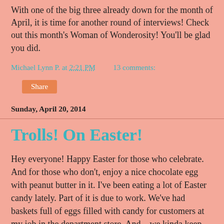With one of the big three already down for the month of April, it is time for another round of interviews! Check out this month's Woman of Wonderosity! You'll be glad you did.
Michael Lynn P. at 2:21 PM   13 comments:
Share
Sunday, April 20, 2014
Trolls! On Easter!
Hey everyone! Happy Easter for those who celebrate. And for those who don't, enjoy a nice chocolate egg with peanut butter in it. I've been eating a lot of Easter candy lately. Part of it is due to work. We've had baskets full of eggs filled with candy for customers at my job in the department store. And... we kinda keep forgetting to offer the eggs to customers and instead have been eating Nestle Crunch and Butterfinger